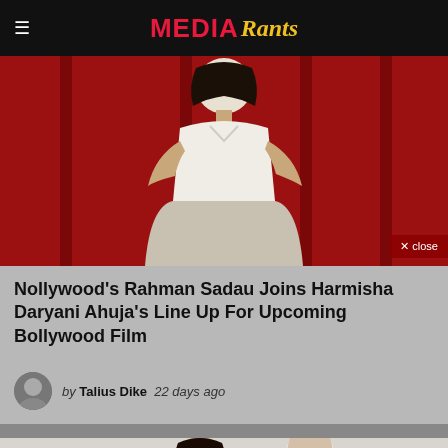Media Rants
[Figure (photo): Person in white dress/skirt against a red background]
Nollywood's Rahman Sadau Joins Harmisha Daryani Ahuja's Line Up For Upcoming Bollywood Film
by Talius Dike   22 days ago
[Figure (photo): Two people in a scene, partial view at bottom of page]